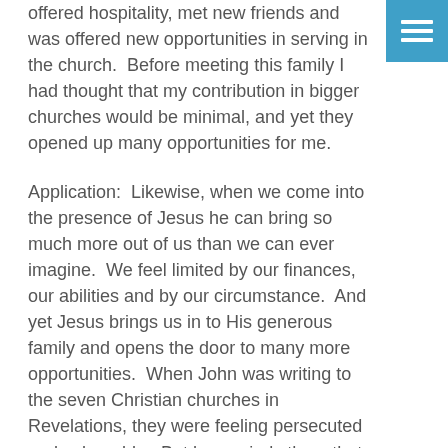offered hospitality, met new friends and was offered new opportunities in serving in the church.  Before meeting this family I had thought that my contribution in bigger churches would be minimal, and yet they opened up many opportunities for me.
Application:  Likewise, when we come into the presence of Jesus he can bring so much more out of us than we can ever imagine.  We feel limited by our finances, our abilities and by our circumstance.  And yet Jesus brings us in to His generous family and opens the door to many more opportunities.  When John was writing to the seven Christian churches in Revelations, they were feeling persecuted and vulnerable.  But he reminds them that through the love and freedom of Jesus that He has made them to be a kingdom and priests.  They were now a part of an important group and had the